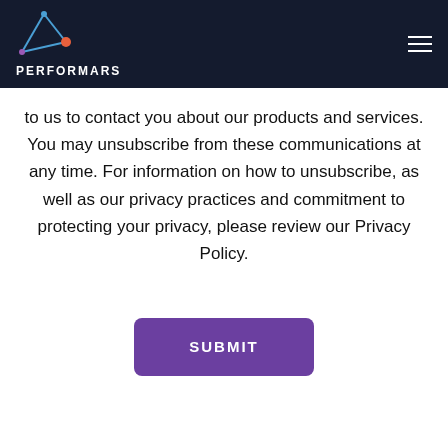[Figure (logo): Performars logo with geometric triangle/arrow graphic and text PERFORMARS on dark navy header bar with hamburger menu icon]
to us to contact you about our products and services. You may unsubscribe from these communications at any time. For information on how to unsubscribe, as well as our privacy practices and commitment to protecting your privacy, please review our Privacy Policy.
SUBMIT